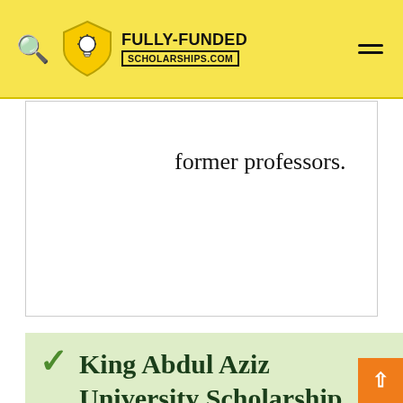FULLY-FUNDED SCHOLARSHIPS.COM
former professors.
King Abdul Aziz University Scholarship Application Method:
International students should submit the online application, for more detailed information, please read the instructions, admission